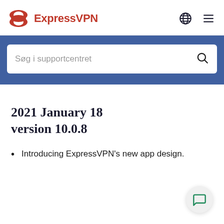ExpressVPN
[Figure (screenshot): Search bar with placeholder text 'Søg i supportcentret' on a blue background]
2021 January 18 version 10.0.8
Introducing ExpressVPN's new app design.